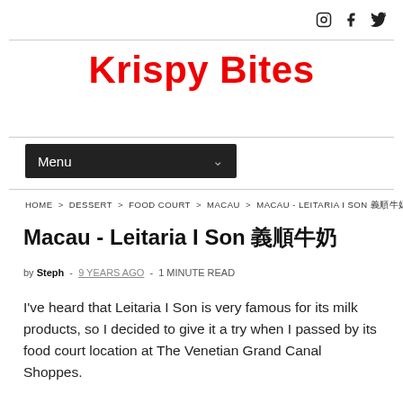Krispy Bites
Menu
HOME > DESSERT > FOOD COURT > MACAU > MACAU - LEITARIA I SON 義順牛奶
Macau - Leitaria I Son 義順牛奶
by Steph - 9 YEARS AGO - 1 MINUTE READ
I've heard that Leitaria I Son is very famous for its milk products, so I decided to give it a try when I passed by its food court location at The Venetian Grand Canal Shoppes.